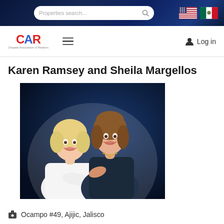Properties search...
[Figure (screenshot): Navigation bar with CAR logo, hamburger menu, and Log in button]
Karen Ramsey and Sheila Margellos
[Figure (photo): Two women smiling, one with blonde hair in white jacket with arms crossed, one with brown hair in dark sleeveless top]
Ocampo #49, Ajijic, Jalisco